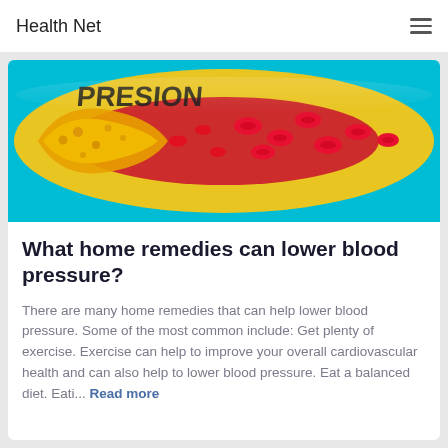Health Net
[Figure (illustration): Medical illustration of a blood vessel cross-section showing plaque buildup (yellow) and red blood cells flowing through the artery, with text 'PRESION' visible at top left, on a cyan/turquoise background]
What home remedies can lower blood pressure?
There are many home remedies that can help lower blood pressure. Some of the most common include: Get plenty of exercise. Exercise can help to improve your overall cardiovascular health and can also help to lower blood pressure. Eat a balanced diet. Eati... Read more